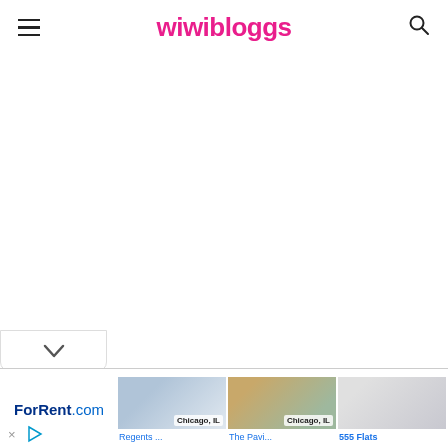wiwibloggs
[Figure (screenshot): Large white blank content area below the wiwibloggs header navigation]
[Figure (screenshot): Collapse/dropdown tab with chevron arrow at bottom of content area]
[Figure (advertisement): ForRent.com advertisement banner showing three apartment listings: Regents... in Chicago IL, The Pavi... in Chicago IL, and 555 Flats]